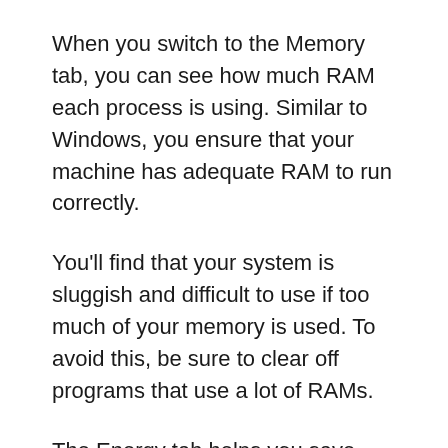When you switch to the Memory tab, you can see how much RAM each process is using. Similar to Windows, you ensure that your machine has adequate RAM to run correctly.
You'll find that your system is sluggish and difficult to use if too much of your memory is used. To avoid this, be sure to clear off programs that use a lot of RAMs.
The Energy tab helps you save battery life by keeping track of which apps are draining your energy. When your MacBook is disconnected, use this tab to extend the battery life until you can plug it back in.